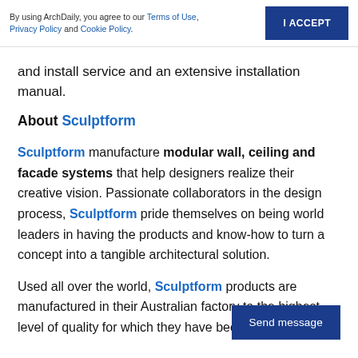By using ArchDaily, you agree to our Terms of Use, Privacy Policy and Cookie Policy.
I ACCEPT
and install service and an extensive installation manual.
About Sculptform
Sculptform manufacture modular wall, ceiling and facade systems that help designers realize their creative vision. Passionate collaborators in the design process, Sculptform pride themselves on being world leaders in having the products and know-how to turn a concept into a tangible architectural solution.
Send message
Used all over the world, Sculptform products are manufactured in their Australian factory to the highest level of quality for which they have become known.